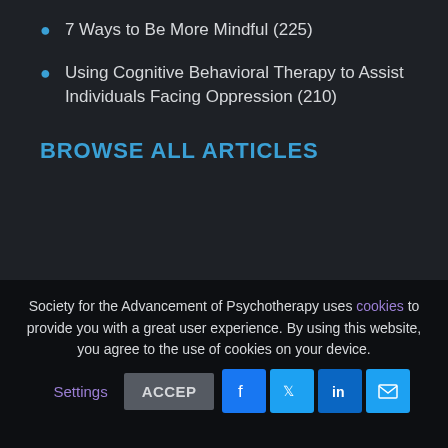7 Ways to Be More Mindful (225)
Using Cognitive Behavioral Therapy to Assist Individuals Facing Oppression (210)
BROWSE ALL ARTICLES
Select Language
Powered by Google Translate
Society for the Advancement of Psychotherapy uses cookies to provide you with a great user experience. By using this website, you agree to the use of cookies on your device.
Settings
ACCEPT